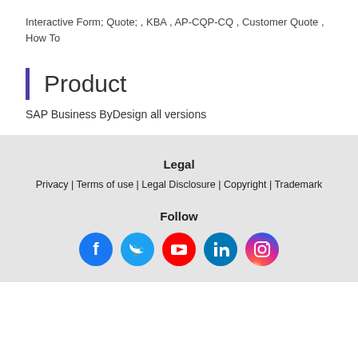Interactive Form; Quote; , KBA , AP-CQP-CQ , Customer Quote , How To
Product
SAP Business ByDesign all versions
Legal
Privacy | Terms of use | Legal Disclosure | Copyright | Trademark
Follow
[Figure (infographic): Social media icons: Facebook, Twitter, YouTube, LinkedIn, Instagram]